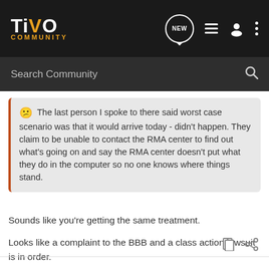TiVo COMMUNITY
Search Community
😕 The last person I spoke to there said worst case scenario was that it would arrive today - didn't happen. They claim to be unable to contact the RMA center to find out what's going on and say the RMA center doesn't put what they do in the computer so no one knows where things stand.
Sounds like you're getting the same treatment.
Looks like a complaint to the BBB and a class action lawsuit is in order.
WAKE UP TIVO!